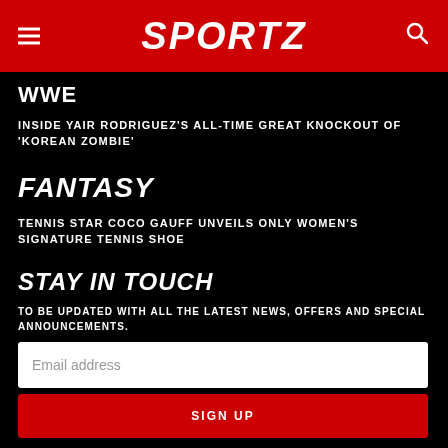SPORTZ
WWE
INSIDE YAIR RODRIGUEZ'S ALL-TIME GREAT KNOCKOUT OF 'KOREAN ZOMBIE'
FANTASY
TENNIS STAR COCO GAUFF UNVEILS ONLY WOMEN'S SIGNATURE TENNIS SHOE
STAY IN TOUCH
TO BE UPDATED WITH ALL THE LATEST NEWS, OFFERS AND SPECIAL ANNOUNCEMENTS.
Email address
SIGN UP